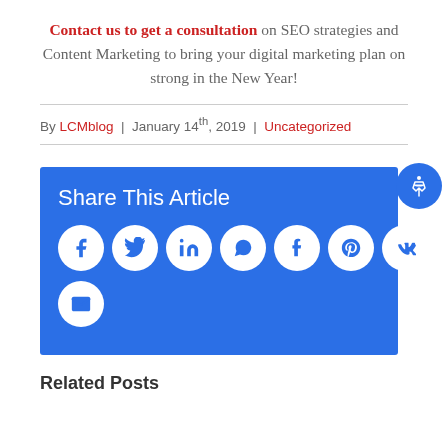Contact us to get a consultation on SEO strategies and Content Marketing to bring your digital marketing plan on strong in the New Year!
By LCMblog | January 14th, 2019 | Uncategorized
[Figure (infographic): Share This Article section with blue background containing social media icon circles: Facebook, Twitter, LinkedIn, WhatsApp, Tumblr, Pinterest, VK, and Email]
Related Posts